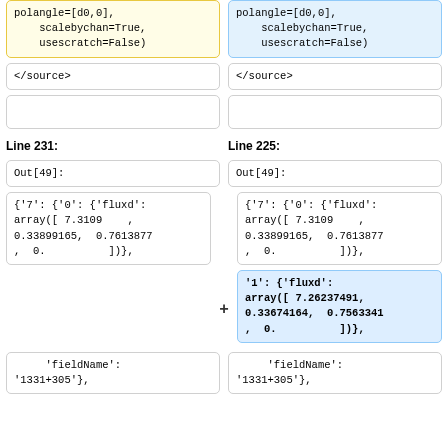polangle=[d0,0],
    scalebychan=True,
    usescratch=False)
polangle=[d0,0],
    scalebychan=True,
    usescratch=False)
</source>
</source>
Line 231:
Line 225:
Out[49]:
Out[49]:
{'7': {'0': {'fluxd':
array([ 7.3109    ,
0.33899165,  0.7613877
,  0.          ])},
{'7': {'0': {'fluxd':
array([ 7.3109    ,
0.33899165,  0.7613877
,  0.          ])},
'1': {'fluxd':
array([ 7.26237491,
0.33674164,  0.7563341
,  0.          ])},
'fieldName':
'1331+305'},
'fieldName':
'1331+305'},